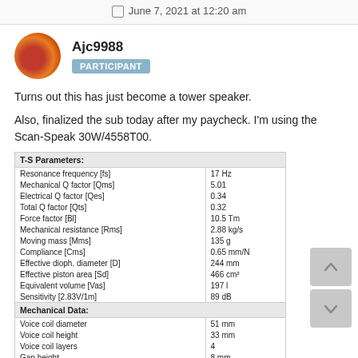June 7, 2021 at 12:20 am
Ajc9988
PARTICIPANT
Turns out this has just become a tower speaker.
Also, finalized the sub today after my paycheck. I'm using the Scan-Speak 30W/4558T00.
| T-S Parameters: |  |
| --- | --- |
| Resonance frequency [fs] | 17 Hz |
| Mechanical Q factor [Qms] | 5.01 |
| Electrical Q factor [Qes] | 0.34 |
| Total Q factor [Qts] | 0.32 |
| Force factor [Bl] | 10.5 Tm |
| Mechanical resistance [Rms] | 2.88 kg/s |
| Moving mass [Mms] | 135 g |
| Compliance [Cms] | 0.65 mm/N |
| Effective dioph. diameter [D] | 244 mm |
| Effective piston area [Sd] | 466 cm² |
| Equivalent volume [Vas] | 197 l |
| Sensitivity [2.83V/1m] | 89 dB |
| Mechanical Data: |  |
| Voice coil diameter | 51 mm |
| Voice coil height | 33 mm |
| Voice coil layers | 4 |
| Gap height | 8 mm |
| Linear excursion | ± 12.5 mm |
| Max mech. excursion | ± 28 mm |
| Unit weight | 6.3 kg |
| Cabinet Displacement Volume | 1.50 l |
| Electrical Data: |  |
| Nominal impedance [Zn] | 4 Ω |
| Minimum impedance [Zmin] | 3.3 Ω |
| Maximum impedance [Zo] | 40.9 Ω |
| DC resistance [Re] | 2.6 Ω |